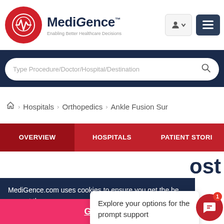MediGence - Enabling Better Healthcare Decisions
Type Procedure/Doctor/Hospital/Destination
Hospitals > Orthopedics > Ankle Fusion Sur
OVERVIEW   HOSPITALS   PATIENT STORIES
ost
MediGence.com uses cookies to ensure you get the best experience on our website. Vi...
Explore your options for the prompt support
Got it!